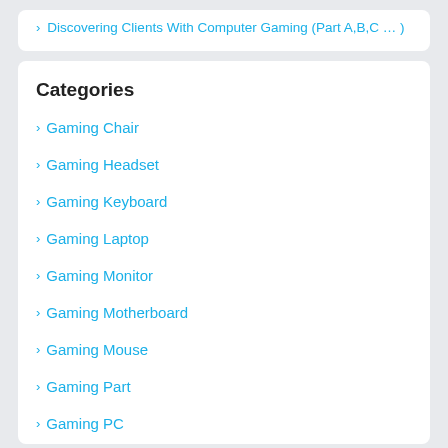> Discovering Clients With Computer Gaming (Part A,B,C … )
Categories
> Gaming Chair
> Gaming Headset
> Gaming Keyboard
> Gaming Laptop
> Gaming Monitor
> Gaming Motherboard
> Gaming Mouse
> Gaming Part
> Gaming PC